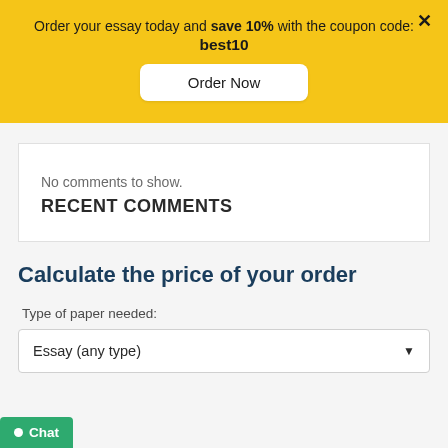Order your essay today and save 10% with the coupon code: best10
Order Now
No comments to show.
RECENT COMMENTS
Calculate the price of your order
Type of paper needed:
Essay (any type)